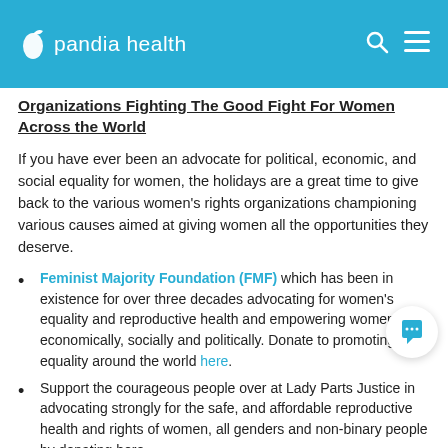pandia health
Organizations Fighting The Good Fight For Women Across the World
If you have ever been an advocate for political, economic, and social equality for women, the holidays are a great time to give back to the various women's rights organizations championing various causes aimed at giving women all the opportunities they deserve.
Feminist Majority Foundation (FMF) which has been in existence for over three decades advocating for women's equality and reproductive health and empowering women economically, socially and politically. Donate to promoting equality around the world here.
Support the courageous people over at Lady Parts Justice in advocating strongly for the safe, and affordable reproductive health and rights of women, all genders and non-binary people by donating here.